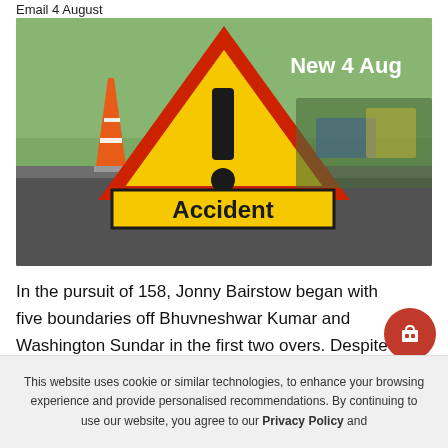Email 4 August
[Figure (photo): Road accident scene with a yellow warning triangular sign reading 'Accident' and an orange traffic cone on a road. Text overlay reads 'New 4 Aug'.]
In the pursuit of 158, Jonny Bairstow began with five boundaries off Bhuvneshwar Kumar and Washington Sundar in the first two overs. Despite getting a r…
This website uses cookie or similar technologies, to enhance your browsing experience and provide personalised recommendations. By continuing to use our website, you agree to our Privacy Policy and